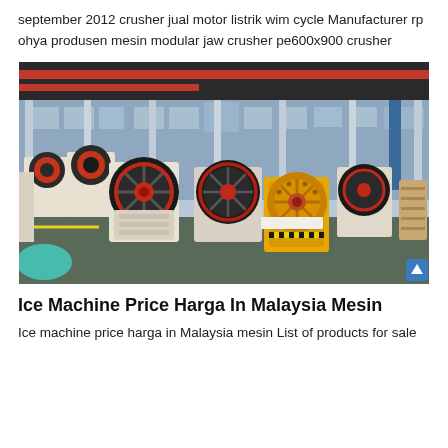september 2012 crusher jual motor listrik wim cycle Manufacturer rp ohya produsen mesin modular jaw crusher pe600x900 crusher
[Figure (photo): Factory floor showing multiple jaw crusher machines in a manufacturing facility. The machines are cream/beige colored with large black flywheels and red accents. One yellow crusher is visible in the center-right. The facility has a high ceiling with steel columns and red overhead crane beams.]
Ice Machine Price Harga In Malaysia Mesin
Ice machine price harga in Malaysia mesin List of products for sale